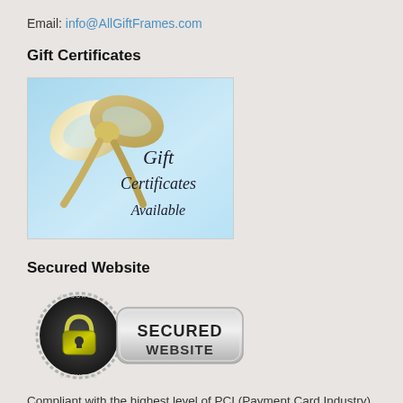Email: info@AllGiftFrames.com
Gift Certificates
[Figure (illustration): Gift certificate promotional image with a gold bow ribbon on a light blue background and cursive text reading 'Gift Certificates Available']
Secured Website
[Figure (logo): Secured Website badge with a padlock icon on a dark circular background and a silver rounded rectangle badge reading 'SECURED WEBSITE']
Compliant with the highest level of PCI (Payment Card Industry) standards.